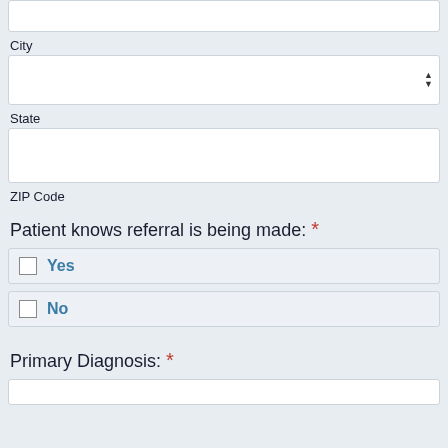[text input box — top, partially visible]
City
[dropdown input box for City]
State
[text input box for State]
ZIP Code
Patient knows referral is being made: *
Yes
No
Primary Diagnosis: *
[text input box for Primary Diagnosis — partially visible]